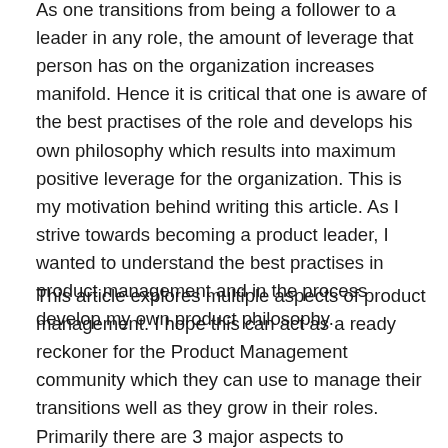As one transitions from being a follower to a leader in any role, the amount of leverage that person has on the organization increases manifold. Hence it is critical that one is aware of the best practises of the role and develops his own philosophy which results into maximum positive leverage for the organization. This is my motivation behind writing this article. As I strive towards becoming a product leader, I wanted to understand the best practises in product management and in the process develop my own product philosophy.
This article explores multiple aspects of product management. I hope this can act as a ready reckoner for the Product Management community which they can use to manage their transitions well as they grow in their roles. Primarily there are 3 major aspects to understanding and performing well as a Product Manager, which are as listed